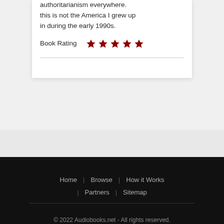authoritarianism everywhere. this is not the America I grew up in during the early 1990s.
Book Rating ★★★★★
Home | Browse | How it Works | Partners | Sitemap
© 2022 Audiobooks.net - All rights reserved.